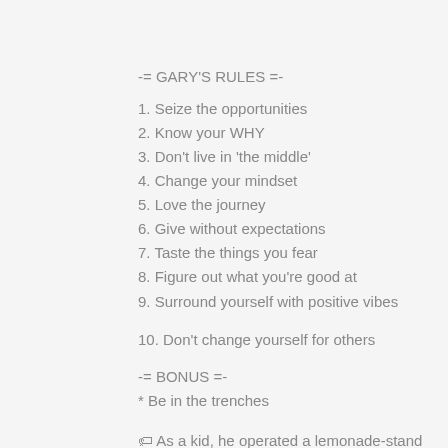-= GARY'S RULES =-
1. Seize the opportunities
2. Know your WHY
3. Don't live in 'the middle'
4. Change your mindset
5. Love the journey
6. Give without expectations
7. Taste the things you fear
8. Figure out what you're good at
9. Surround yourself with positive vibes
10. Don't change yourself for others
-= BONUS =-
* Be in the trenches
🏷 As a kid, he operated a lemonade-stand franchise. He was born in the Soviet Union. At age 14, he joined his family's retail wine business. He grew the